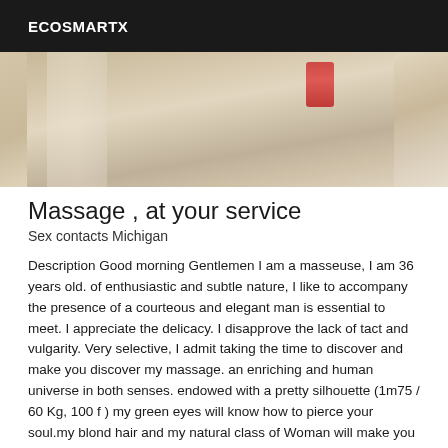ECOSMARTX
[Figure (photo): Partial photo showing a wooden floor surface with a red object visible in the upper right area]
Massage , at your service
Sex contacts Michigan
Description Good morning Gentlemen I am a masseuse, I am 36 years old. of enthusiastic and subtle nature, I like to accompany the presence of a courteous and elegant man is essential to meet. I appreciate the delicacy. I disapprove the lack of tact and vulgarity. Very selective, I admit taking the time to discover and make you discover my massage. an enriching and human universe in both senses. endowed with a pretty silhouette (1m75 / 60 Kg, 100 f ) my green eyes will know how to pierce your soul.my blond hair and my natural class of Woman will make you forget the traces of an almost invisible Man dents Saturday 44/34 33